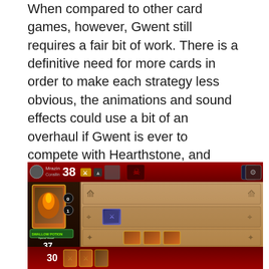When compared to other card games, however, Gwent still requires a fair bit of work. There is a definitive need for more cards in order to make each strategy less obvious, the animations and sound effects could use a bit of an overhaul if Gwent is ever to compete with Hearthstone, and overall I would like to see a couple of future patches dedicated solely to quality of life issues and the new player experience. While all of that might sound like a tall order, it is well worth mentioning that Gwent only recently entered closed beta, so CDPR still has plenty of time to make all of the necessary changes in order to create something truly special. And here's to hoping they actually manage to do so because more competition among card games is something everyone will benefit from!
[Figure (screenshot): Screenshot of the Gwent card game interface showing a game board with players' cards, score display showing 38 for one player and 37 for another, a Swallow Potion card visible, and multiple card rows on a wooden-textured board with red HUD bars at top and bottom.]